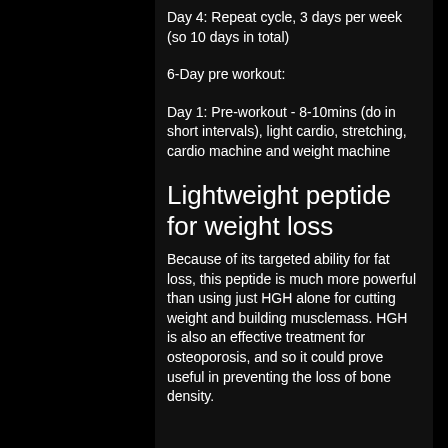Day 4: Repeat cycle, 3 days per week (so 10 days in total)
6-Day pre workout:
Day 1: Pre-workout - 8-10mins (do in short intervals), light cardio, stretching, cardio machine and weight machine
Lightweight peptide for weight loss
Because of its targeted ability for fat loss, this peptide is much more powerful than using just HGH alone for cutting weight and building musclemass. HGH is also an effective treatment for osteoporosis, and so it could prove useful in preventing the loss of bone density.